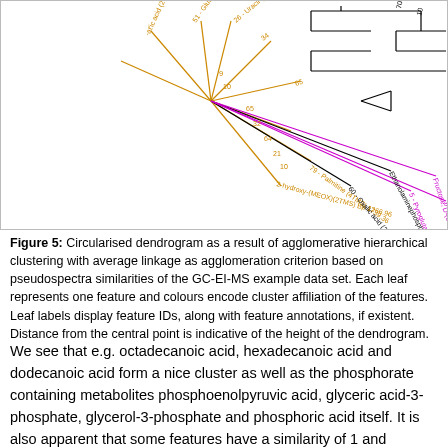[Figure (other): Circularised dendrogram showing agglomerative hierarchical clustering with average linkage. Multiple labeled leaf nodes in various colors (orange, magenta, black) spread around the diagram, representing features from the GC-EI-MS example data set.]
Figure 5: Circularised dendrogram as a result of agglomerative hierarchical clustering with average linkage as agglomeration criterion based on pseudospectra similarities of the GC-EI-MS example data set. Each leaf represents one feature and colours encode cluster affiliation of the features. Leaf labels display feature IDs, along with feature annotations, if existent. Distance from the central point is indicative of the height of the dendrogram.
We see that e.g. octadecanoic acid, hexadecanoic acid and dodecanoic acid form a nice cluster as well as the phosphorate containing metabolites phosphoenolpyruvic acid, glyceric acid-3-phosphate, glycerol-3-phosphate and phosphoric acid itself. It is also apparent that some features have a similarity of 1 and